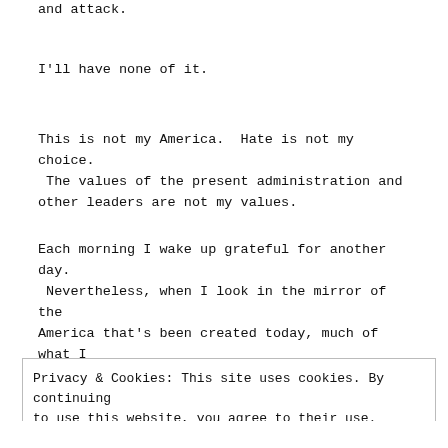and attack.
I'll have none of it.
This is not my America.  Hate is not my choice.  The values of the present administration and other leaders are not my values.
Each morning I wake up grateful for another day.  Nevertheless, when I look in the mirror of the America that's been created today, much of what I see is self-serving hubris, pandering, hissy fits,
Privacy & Cookies: This site uses cookies. By continuing to use this website, you agree to their use. To find out more, including how to control cookies, see here: Cookie Policy
Close and accept
and attack.